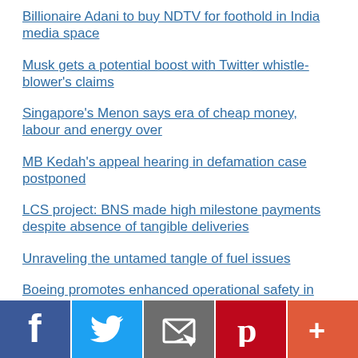Billionaire Adani to buy NDTV for foothold in India media space
Musk gets a potential boost with Twitter whistle-blower's claims
Singapore's Menon says era of cheap money, labour and energy over
MB Kedah's appeal hearing in defamation case postponed
LCS project: BNS made high milestone payments despite absence of tangible deliveries
Unraveling the untamed tangle of fuel issues
Boeing promotes enhanced operational safety in the region
[Figure (infographic): Social sharing bar with five buttons: Facebook (dark blue), Twitter (light blue), Email (gray), Pinterest (red), and More/plus (orange-red)]